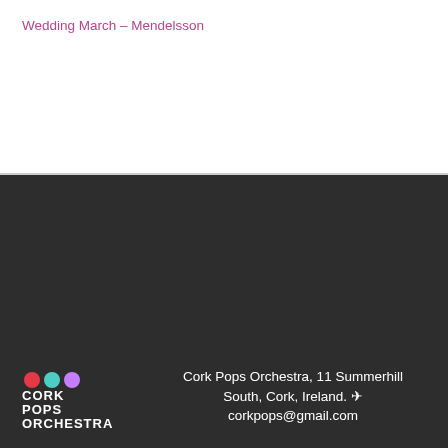Wedding March – Mendelsson
[Figure (logo): Cork Pops Orchestra logo with colored dots and white text on dark background]
Cork Pops Orchestra, 11 Summerhill South, Cork, Ireland. corkpops@gmail.com
[Figure (logo): Cork Chamber Member 2022 badge - blue/purple badge with gear icon]
[Figure (logo): An Roinn Turasóireachta, Cultúir, Ealaíon, Gaeltachta, Spóirt agus Meán - Department of Tourism, Culture, Arts, Gaeltacht, Sport and Media logo with Irish harp]
[Figure (infographic): Social media icons row: Facebook, Twitter, Instagram, YouTube]